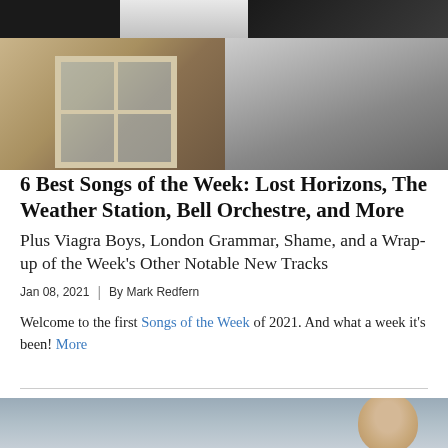[Figure (photo): Collage of two photo rows: top row has three portrait/dark photos; bottom row has a color photo of people inside a cabin with a large window on the left, and a black-and-white photo of a group of people lounging/posing on the right.]
6 Best Songs of the Week: Lost Horizons, The Weather Station, Bell Orchestre, and More
Plus Viagra Boys, London Grammar, Shame, and a Wrap-up of the Week's Other Notable New Tracks
Jan 08, 2021  |  By Mark Redfern
Welcome to the first Songs of the Week of 2021. And what a week it's been! More
[Figure (photo): Partial portrait photo of a person, visible from the top of the page bottom section, with a grey/blue background.]